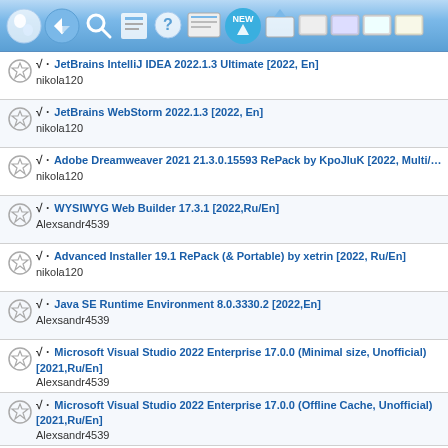[Figure (screenshot): Toolbar with navigation and action icons on blue gradient background]
√ · JetBrains IntelliJ IDEA 2022.1.3 Ultimate [2022, En]
nikola120
√ · JetBrains WebStorm 2022.1.3 [2022, En]
nikola120
√ · Adobe Dreamweaver 2021 21.3.0.15593 RePack by KpoJluK [2022, Multi/Ru
nikola120
√ · WYSIWYG Web Builder 17.3.1 [2022,Ru/En]
Alexsandr4539
√ · Advanced Installer 19.1 RePack (& Portable) by xetrin [2022, Ru/En]
nikola120
√ · Java SE Runtime Environment 8.0.3330.2 [2022,En]
Alexsandr4539
√ · Microsoft Visual Studio 2022 Enterprise 17.0.0 (Minimal size, Unofficial) [2021,Ru/En]
Alexsandr4539
√ · Microsoft Visual Studio 2022 Enterprise 17.0.0 (Offline Cache, Unofficial) [2021,Ru/En]
Alexsandr4539
√ · Microsoft Visual Studio 2019 Enterprise 16.11.6 (Minimal size, Unofficial) [2021,Ru/En]
Alexsandr4539
√ · 📌 Microsoft Visual Studio 2019 Enterprise 16.11.6 (Offline Cache, Unoffici [2021,Ru/En]
Alexsandr4539
√ · Visual Studio Code 1.63.0 + Автономная версия (standalone) [2021, Multi/
nikola120
√ · JetBrains PhpStorm 2021.1.1 [2021, En]